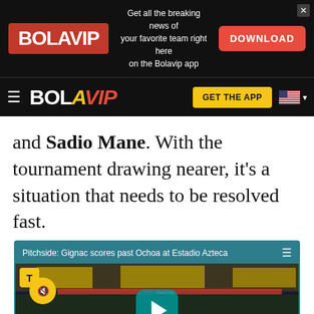[Figure (screenshot): Bolavip advertisement banner with logo, text 'Get all the breaking news of your favorite team right here on the Bolavip app' and a red DOWNLOAD button]
[Figure (screenshot): Bolavip navigation bar with hamburger menu, BOLAVIP logo (BOLA white, VIP yellow), GET THE APP yellow button, and US flag]
and Sadio Mane. With the tournament drawing nearer, it’s a situation that needs to be resolved fast.
[Figure (screenshot): Embedded video player showing 'Pitchside: Gignac scores past Ochoa at Estadio Azteca' with stadium crowd footage, play button overlay, mute button, Tigres logo, and BVA sponsor bar reading 'Creando Oportunidades']